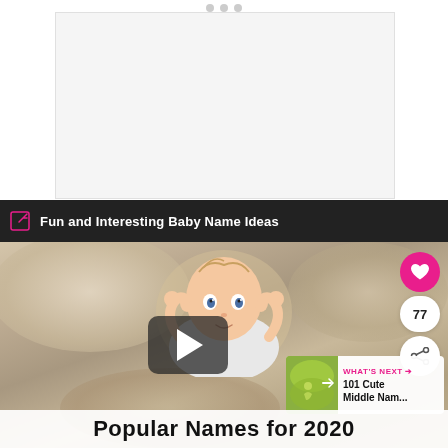[Figure (screenshot): Top white area with light gray content box placeholder and three dots at top center]
Fun and Interesting Baby Name Ideas
[Figure (photo): Video thumbnail showing a baby lying on a furry rug, with a play button overlay, heart/like/share buttons on the right, a 'What's Next' panel showing '101 Cute Middle Nam...' and 'Popular Names for 2020' text overlay at the bottom]